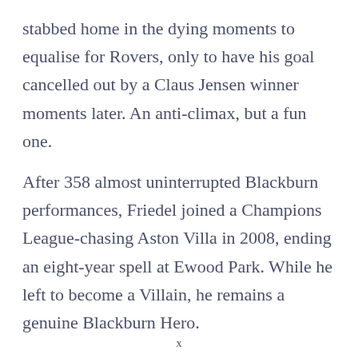stabbed home in the dying moments to equalise for Rovers, only to have his goal cancelled out by a Claus Jensen winner moments later. An anti-climax, but a fun one.
After 358 almost uninterrupted Blackburn performances, Friedel joined a Champions League-chasing Aston Villa in 2008, ending an eight-year spell at Ewood Park. While he left to become a Villain, he remains a genuine Blackburn Hero.
x